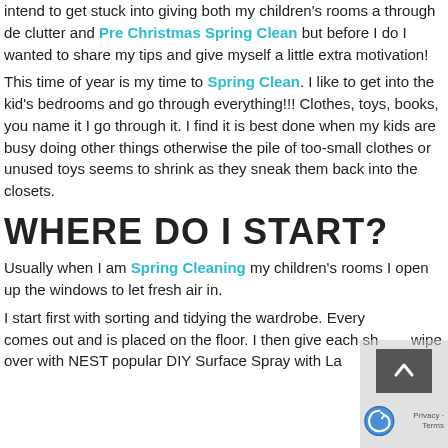intend to get stuck into giving both my children's rooms a through de clutter and Pre Christmas Spring Clean but before I do I wanted to share my tips and give myself a little extra motivation!
This time of year is my time to Spring Clean. I like to get into the kid's bedrooms and go through everything!!! Clothes, toys, books, you name it I go through it. I find it is best done when my kids are busy doing other things otherwise the pile of too-small clothes or unused toys seems to shrink as they sneak them back into the closets.
WHERE DO I START?
Usually when I am Spring Cleaning my children's rooms I open up the windows to let fresh air in.
I start first with sorting and tidying the wardrobe. Everything comes out and is placed on the floor. I then give each she wipe over with NEST popular DIY Surface Spray with La